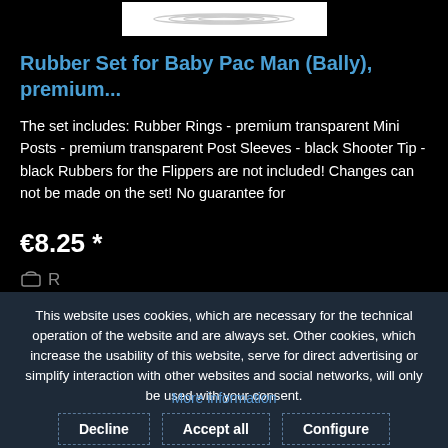[Figure (illustration): Product image area showing curved ring shapes on white background]
Rubber Set for Baby Pac Man (Bally), premium...
The set includes: Rubber Rings - premium transparent Mini Posts - premium transparent Post Sleeves - black Shooter Tip - black Rubbers for the Flippers are not included! Changes can not be made on the set! No guarantee for
€8.25 *
This website uses cookies, which are necessary for the technical operation of the website and are always set. Other cookies, which increase the usability of this website, serve for direct advertising or simplify interaction with other websites and social networks, will only be used with your consent.
More information
Decline   Accept all   Configure